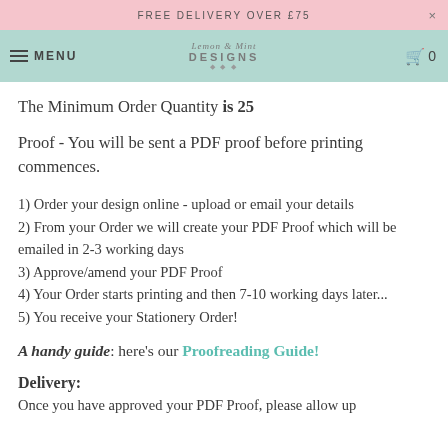FREE DELIVERY OVER £75   ×
MENU  Lemon & Mint Designs  0
The Minimum Order Quantity is 25
Proof - You will be sent a PDF proof before printing commences.
1) Order your design online - upload or email your details
2) From your Order we will create your PDF Proof which will be emailed in 2-3 working days
3) Approve/amend your PDF Proof
4) Your Order starts printing and then 7-10 working days later...
5) You receive your Stationery Order!
A handy guide: here's our Proofreading Guide!
Delivery:
Once you have approved your PDF Proof, please allow up